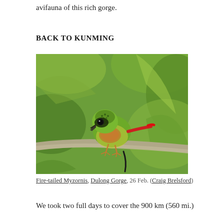avifauna of this rich gorge.
BACK TO KUNMING
[Figure (photo): A Fire-tailed Myzornis bird perched on a branch. The bird is small and round with vivid green plumage, a black eye mask with spotted green crown, a distinctive red tail tip, and reddish-orange breast. It is photographed in a natural forest setting with blurred green foliage in the background.]
Fire-tailed Myzornis, Dulong Gorge, 26 Feb. (Craig Brelsford)
We took two full days to cover the 900 km (560 mi.)